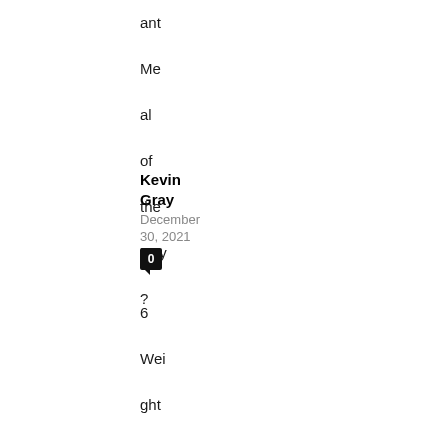ant
Me
al
of
the
Day
?
Kevin Gray
December 30, 2021
0
6
Wei
ght
-
Los
s
Tips
Die
titi
ans
Wa